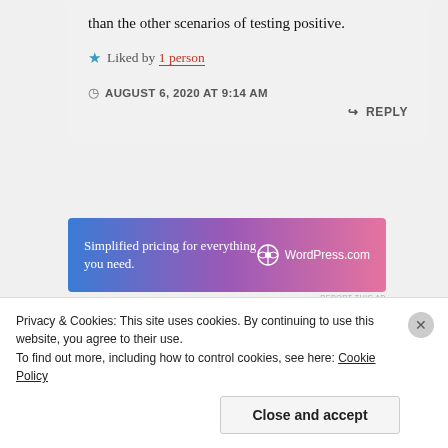than the other scenarios of testing positive.
★ Liked by 1 person
AUGUST 6, 2020 AT 9:14 AM
↪ REPLY
[Figure (screenshot): WordPress.com advertisement banner with gradient background (blue to pink). Text reads 'Simplified pricing for everything you need.' with WordPress.com logo.]
REPORT THIS AD
Privacy & Cookies: This site uses cookies. By continuing to use this website, you agree to their use.
To find out more, including how to control cookies, see here: Cookie Policy
Close and accept